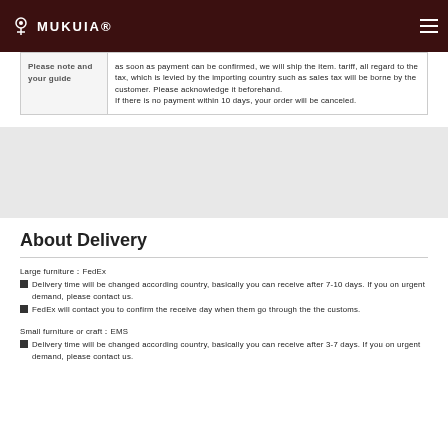MUKUIA
| Please note and your guide |  |
| --- | --- |
| Please note and your guide | as soon as payment can be confirmed, we will ship the item. tariff, all regard to the tax, which is levied by the importing country such as sales tax will be borne by the customer. Please acknowledge it beforehand. If there is no payment within 10 days, your order will be canceled. |
About Delivery
Large furniture：FedEx
■ Delivery time will be changed according country, basically you can receive after 7-10 days. If you on urgent demand, please contact us.
■ FedEx will contact you to confirm the receive day when them go through the the customs.
Small furniture or craft：EMS
■ Delivery time will be changed according country, basically you can receive after 3-7 days. If you on urgent demand, please contact us.